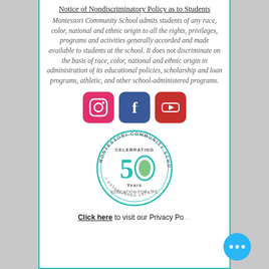Notice of Nondiscriminatory Policy as to Students
Montessori Community School admits students of any race, color, national and ethnic origin to all the rights, privileges, programs and activities generally accorded and made available to students at the school. It does not discriminate on the basis of race, color, national and ethnic origin in administration of its educational policies, scholarship and loan programs, athletic, and other school-administered programs.
[Figure (illustration): Social media icons: Instagram (pink/red rounded square), Facebook (blue square), YouTube (red square with play button)]
[Figure (logo): Montessori Community School 50th anniversary circular logo with teal and green colors, celebrating 50 years, established 1973, Education for Life]
Click here to visit our Privacy Po...